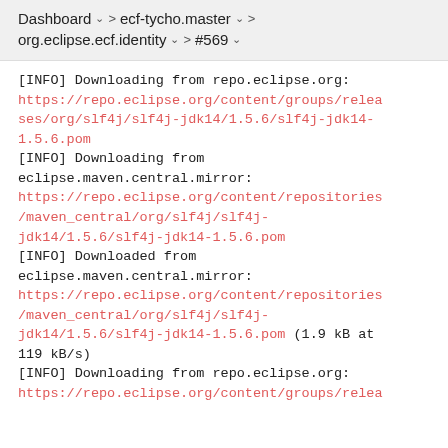Dashboard > ecf-tycho.master > org.eclipse.ecf.identity > #569
[INFO] Downloading from repo.eclipse.org:
https://repo.eclipse.org/content/groups/releases/org/slf4j/slf4j-jdk14/1.5.6/slf4j-jdk14-1.5.6.pom
[INFO] Downloading from eclipse.maven.central.mirror:
https://repo.eclipse.org/content/repositories/maven_central/org/slf4j/slf4j-jdk14/1.5.6/slf4j-jdk14-1.5.6.pom
[INFO] Downloaded from eclipse.maven.central.mirror:
https://repo.eclipse.org/content/repositories/maven_central/org/slf4j/slf4j-jdk14/1.5.6/slf4j-jdk14-1.5.6.pom (1.9 kB at 119 kB/s)
[INFO] Downloading from repo.eclipse.org:
https://repo.eclipse.org/content/groups/relea